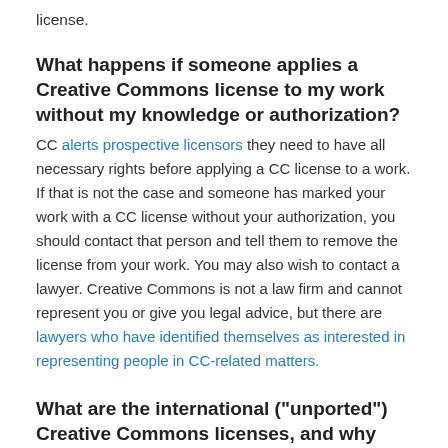license.
What happens if someone applies a Creative Commons license to my work without my knowledge or authorization?
CC alerts prospective licensors they need to have all necessary rights before applying a CC license to a work. If that is not the case and someone has marked your work with a CC license without your authorization, you should contact that person and tell them to remove the license from your work. You may also wish to contact a lawyer. Creative Commons is not a law firm and cannot represent you or give you legal advice, but there are lawyers who have identified themselves as interested in representing people in CC-related matters.
What are the international (“unported”) Creative Commons licenses, and why does CC offer “ported” licenses?